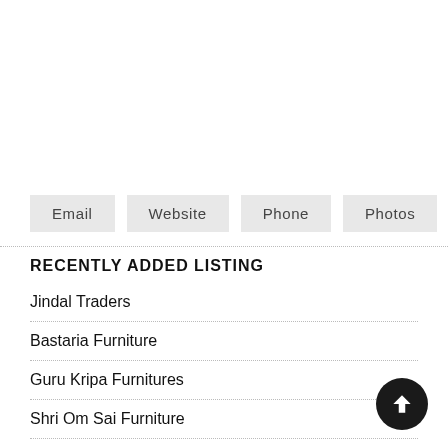Email | Website | Phone | Photos
RECENTLY ADDED LISTING
Jindal Traders
Bastaria Furniture
Guru Kripa Furnitures
Shri Om Sai Furniture
Sahu Furniture House